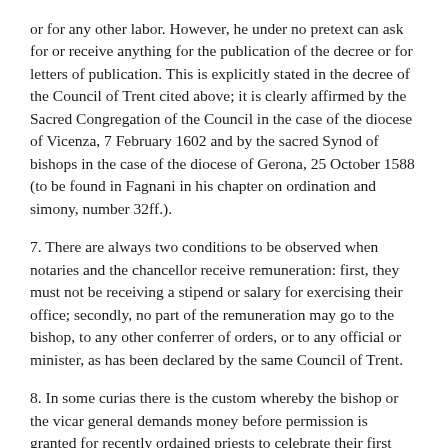or for any other labor. However, he under no pretext can ask for or receive anything for the publication of the decree or for letters of publication. This is explicitly stated in the decree of the Council of Trent cited above; it is clearly affirmed by the Sacred Congregation of the Council in the case of the diocese of Vicenza, 7 February 1602 and by the sacred Synod of bishops in the case of the diocese of Gerona, 25 October 1588 (to be found in Fagnani in his chapter on ordination and simony, number 32ff.).
7. There are always two conditions to be observed when notaries and the chancellor receive remuneration: first, they must not be receiving a stipend or salary for exercising their office; secondly, no part of the remuneration may go to the bishop, to any other conferrer of orders, or to any official or minister, as has been declared by the same Council of Trent.
8. In some curias there is the custom whereby the bishop or the vicar general demands money before permission is granted for recently ordained priests to celebrate their first Mass. Money is also requested from priests, coming from another diocese with commendatory letters from their respective bishops, before they